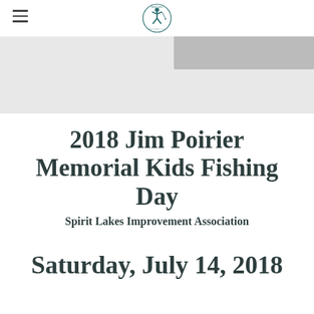Spirit Lakes Improvement Association logo and navigation
[Figure (photo): Hero banner image — light gray background with partial image of person or item at right edge]
2018 Jim Poirier Memorial Kids Fishing Day
Spirit Lakes Improvement Association
Saturday, July 14, 2018